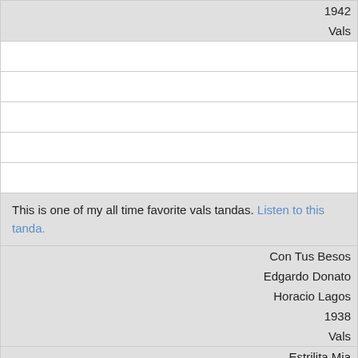| 1942 |
| Vals |
|  |
|  |
|  |
|  |
|  |
| This is one of my all time favorite vals tandas. Listen to this tanda. |
| Con Tus Besos |
| Edgardo Donato |
| Horacio Lagos |
| 1938 |
| Vals |
| Estrilita Mia |